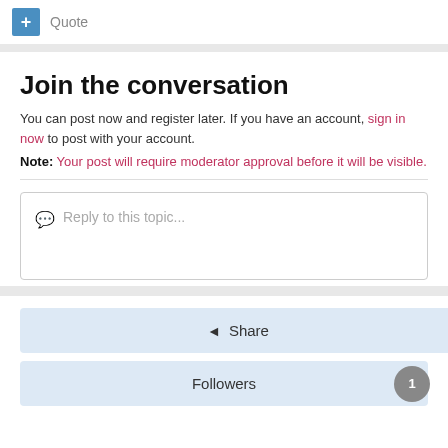[Figure (screenshot): Plus button (+) and Quote link in toolbar]
Join the conversation
You can post now and register later. If you have an account, sign in now to post with your account.
Note: Your post will require moderator approval before it will be visible.
Reply to this topic...
Share
Followers 1